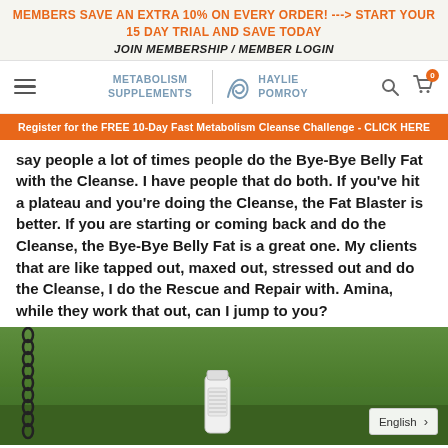MEMBERS SAVE AN EXTRA 10% ON EVERY ORDER! ---> START YOUR 15 DAY TRIAL AND SAVE TODAY
JOIN MEMBERSHIP / MEMBER LOGIN
[Figure (logo): Metabolism Supplements | Haylie Pomroy logo with navigation icons (hamburger menu, search, cart with 0 badge)]
Register for the FREE 10-Day Fast Metabolism Cleanse Challenge - CLICK HERE
say people a lot of times people do the Bye-Bye Belly Fat with the Cleanse. I have people that do both. If you've hit a plateau and you're doing the Cleanse, the Fat Blaster is better. If you are starting or coming back and do the Cleanse, the Bye-Bye Belly Fat is a great one. My clients that are like tapped out, maxed out, stressed out and do the Cleanse, I do the Rescue and Repair with. Amina, while they work that out, can I jump to you?
[Figure (photo): Outdoor photo with green grass/trees background, a black chain hanging on the left side, and a white supplement bottle in the center. English language selector button visible in bottom right corner.]